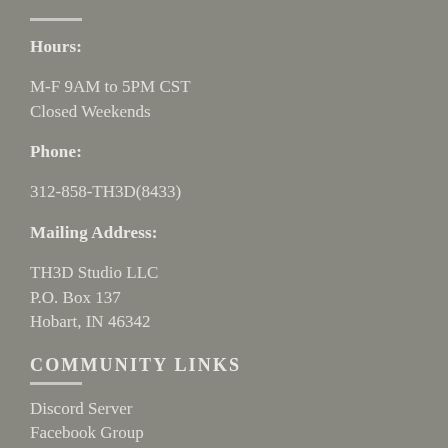Hours:
M-F 9AM to 5PM CST
Closed Weekends
Phone:
312-858-TH3D(8433)
Mailing Address:
TH3D Studio LLC
P.O. Box 137
Hobart, IN 46342
COMMUNITY LINKS
Discord Server
Facebook Group